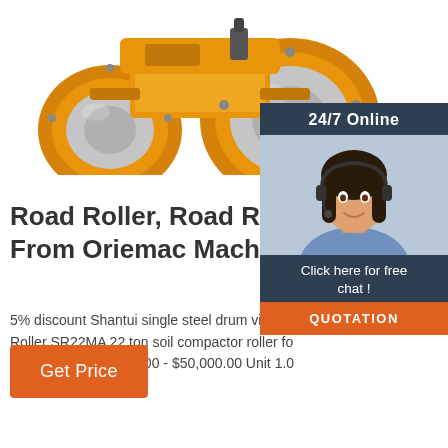[Figure (photo): Yellow road roller / soil compactor machine with large steel drums, photographed from front-left angle on white background]
[Figure (photo): Customer service widget: dark blue panel with '24/7 Online' header, photo of smiling woman with headset, 'Click here for free chat!' text, and orange QUOTATION button]
Road Roller, Road Roller Dire From Oriemac Machinery ...
5% discount Shantui single steel drum vibrato Roller SR22MA 22 ton soil compactor roller fo construction $45,000.00 - $50,000.00 Unit 1.0 Order)
Get Price